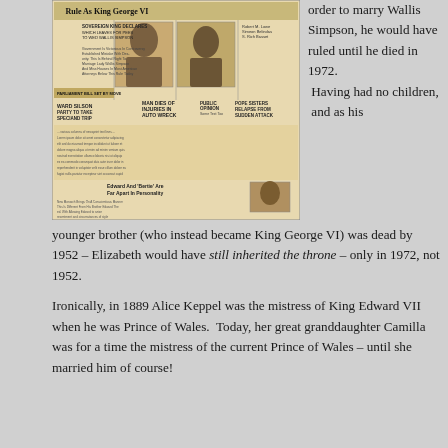[Figure (photo): Scanned/photographed vintage newspaper front page showing headlines about King Edward VIII abdication and King George VI, with photos of royals and various news columns.]
order to marry Wallis Simpson, he would have ruled until he died in 1972.  Having had no children,  and as his younger brother (who instead became King George VI) was dead by 1952 – Elizabeth would have still inherited the throne – only in 1972, not 1952.
Ironically, in 1889 Alice Keppel was the mistress of King Edward VII when he was Prince of Wales.  Today, her great granddaughter Camilla was for a time the mistress of the current Prince of Wales – until she married him of course!